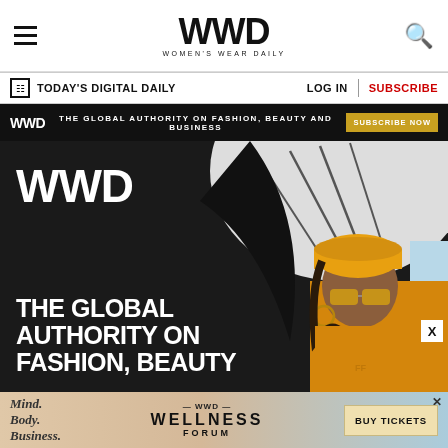WWD — Women's Wear Daily
TODAY'S DIGITAL DAILY | LOG IN | SUBSCRIBE
WWD — THE GLOBAL AUTHORITY ON FASHION, BEAUTY AND BUSINESS — SUBSCRIBE NOW
[Figure (photo): Woman wearing yellow hat, visor and sunglasses holding a white umbrella against a dark background, with WWD logo and tagline 'THE GLOBAL AUTHORITY ON FASHION, BEAUTY' overlaid in white bold text]
[Figure (infographic): WWD Wellness Forum ad banner: Mind. Body. Business. — WWD Wellness Forum — BUY TICKETS button on a gradient peach/blue background]